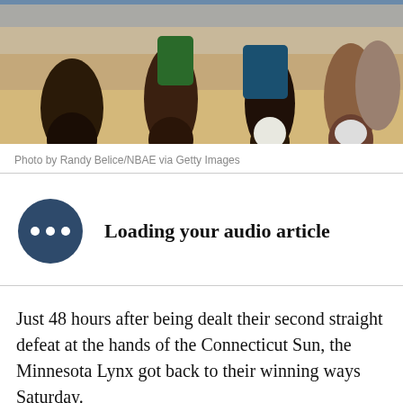[Figure (photo): Basketball players on court, close-up of legs and shoes, WNBA game action]
Photo by Randy Belice/NBAE via Getty Images
Loading your audio article
Just 48 hours after being dealt their second straight defeat at the hands of the Connecticut Sun, the Minnesota Lynx got back to their winning ways Saturday.